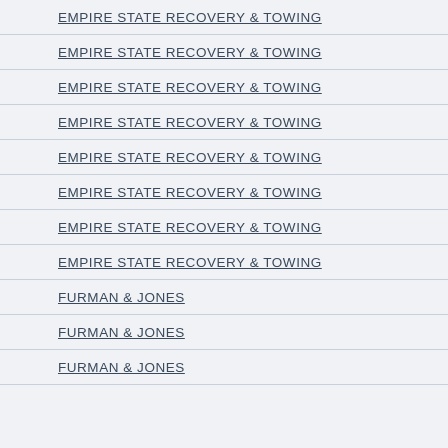EMPIRE STATE RECOVERY & TOWING
EMPIRE STATE RECOVERY & TOWING
EMPIRE STATE RECOVERY & TOWING
EMPIRE STATE RECOVERY & TOWING
EMPIRE STATE RECOVERY & TOWING
EMPIRE STATE RECOVERY & TOWING
EMPIRE STATE RECOVERY & TOWING
EMPIRE STATE RECOVERY & TOWING
FURMAN & JONES
FURMAN & JONES
FURMAN & JONES